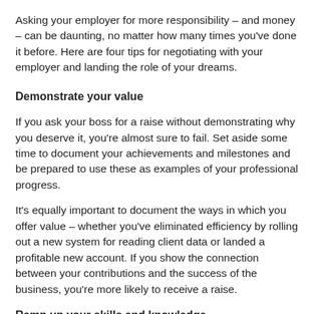Asking your employer for more responsibility – and money – can be daunting, no matter how many times you've done it before. Here are four tips for negotiating with your employer and landing the role of your dreams.
Demonstrate your value
If you ask your boss for a raise without demonstrating why you deserve it, you're almost sure to fail. Set aside some time to document your achievements and milestones and be prepared to use these as examples of your professional progress.
It's equally important to document the ways in which you offer value – whether you've eliminated efficiency by rolling out a new system for reading client data or landed a profitable new account. If you show the connection between your contributions and the success of the business, you're more likely to receive a raise.
Ramp up your skills and knowledge